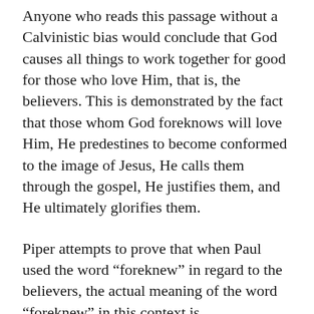Anyone who reads this passage without a Calvinistic bias would conclude that God causes all things to work together for good for those who love Him, that is, the believers. This is demonstrated by the fact that those whom God foreknows will love Him, He predestines to become conformed to the image of Jesus, He calls them through the gospel, He justifies them, and He ultimately glorifies them.
Piper attempts to prove that when Paul used the word “foreknew” in regard to the believers, the actual meaning of the word “foreknew” in this context is “foreordained.” The flaw in his logic that he uses to prove his point is so glaring it is almost embarrassing to expose it. But expose it I must.